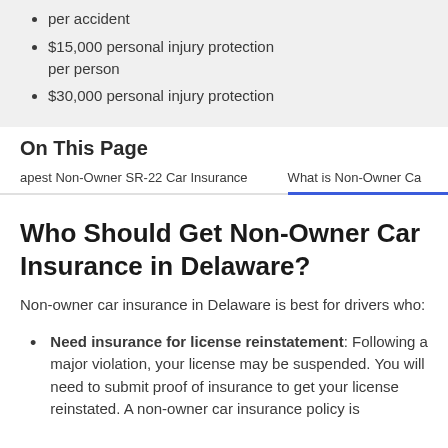per accident
$15,000 personal injury protection per person
$30,000 personal injury protection
On This Page
apest Non-Owner SR-22 Car Insurance   What is Non-Owner Ca
Who Should Get Non-Owner Car Insurance in Delaware?
Non-owner car insurance in Delaware is best for drivers who:
Need insurance for license reinstatement: Following a major violation, your license may be suspended. You will need to submit proof of insurance to get your license reinstated. A non-owner car insurance policy is